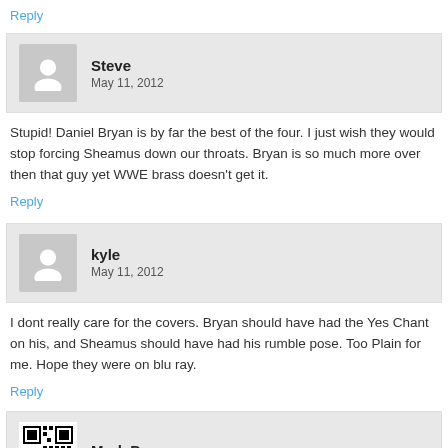Reply
Steve
May 11, 2012
Stupid! Daniel Bryan is by far the best of the four. I just wish they would stop forcing Sheamus down our throats. Bryan is so much more over then that guy yet WWE brass doesn't get it.
Reply
kyle
May 11, 2012
I dont really care for the covers. Bryan should have had the Yes Chant on his, and Sheamus should have had his rumble pose. Too Plain for me. Hope they were on blu ray.
Reply
Mark D